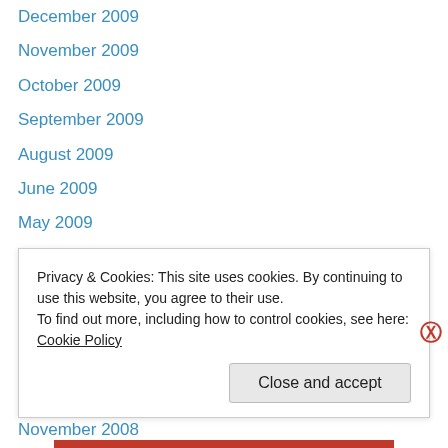December 2009
November 2009
October 2009
September 2009
August 2009
June 2009
May 2009
April 2009
March 2009
February 2009
January 2009
December 2008
November 2008
October 2008
Privacy & Cookies: This site uses cookies. By continuing to use this website, you agree to their use. To find out more, including how to control cookies, see here: Cookie Policy
Close and accept